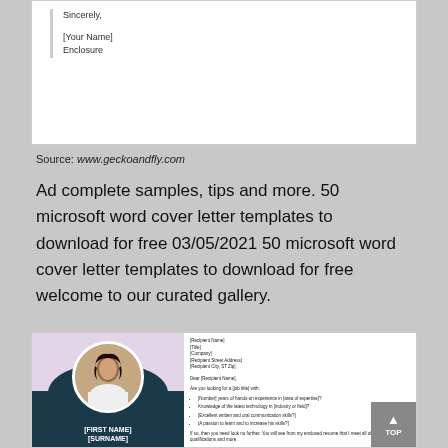[Figure (screenshot): Top portion of a letter template showing 'Sincerely,' followed by '[Your Name]' and 'Enclosure' with a vertical line on the left side]
Source: www.geckoandfly.com
Ad complete samples, tips and more. 50 microsoft word cover letter templates to download for free 03/05/2021 50 microsoft word cover letter templates to download for free welcome to our curated gallery.
[Figure (screenshot): Cover letter template screenshot showing a purple/teal two-tone design with a circular photo of a woman on the left, '[FIRST NAME] [SURNAME]' text, and on the right side a full cover letter template with recipient address, greeting, bullet points about qualifications, and body paragraphs. A grey 'TOP' scroll button is visible in the bottom right.]